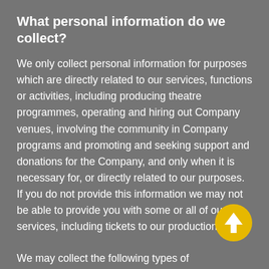What personal information do we collect?
We only collect personal information for purposes which are directly related to our services, functions or activities, including producing theatre programmes, operating and hiring out Company venues, involving the community in Company programs and promoting and seeking support and donations for the Company, and only when it is necessary for, or directly related to our purposes. If you do not provide this information we may not be able to provide you with some or all of our services, including tickets to our productions.
We may collect the following types of